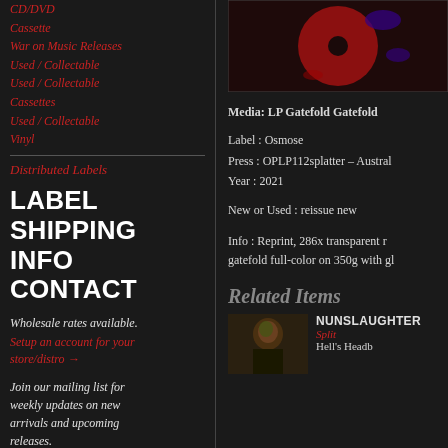CD/DVD
Cassette
War on Music Releases
Used / Collectable
Used / Collectable Cassettes
Used / Collectable Vinyl
Distributed Labels
LABEL SHIPPING INFO CONTACT
Wholesale rates available. Setup an account for your store/distro →
Join our mailing list for weekly updates on new arrivals and upcoming releases.
[Figure (photo): Album cover showing a red and black record with splatter vinyl]
Media: LP Gatefold Gatefold
Label : Osmose
Press : OPLP112splatter – Austral
Year : 2021
New or Used : reissue new
Info : Reprint, 286x transparent r gatefold full-color on 350g with gl
Related Items
[Figure (photo): Album cover for Nunslaughter Split]
NUNSLAUGHTE
Split
Hell's Headb